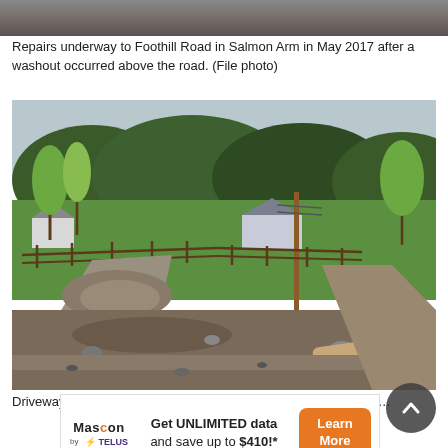[Figure (photo): Partial top view of road repair work — soil and construction area, cropped at top of page]
Repairs underway to Foothill Road in Salmon Arm in May 2017 after a washout occurred above the road. (File photo)
[Figure (photo): Photo of flood damage along Foothill Road — muddy debris, rocks, and gravel covering a rural road with wooden fences, green fields, houses, trees, and a utility pole in the background]
Driveways along Foothill Road were damaged by flooding on Fr…
Get UNLIMITED data and save up to $410!* — Mascon by TELUS advertisement — Learn More